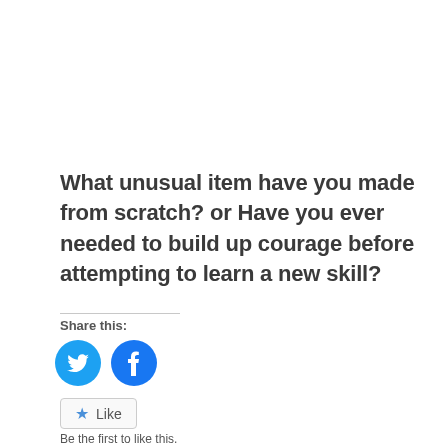What unusual item have you made from scratch? or Have you ever needed to build up courage before attempting to learn a new skill?
Share this:
[Figure (illustration): Twitter and Facebook circular blue social share icon buttons]
[Figure (illustration): Like button with star icon and text 'Like']
Be the first to like this.